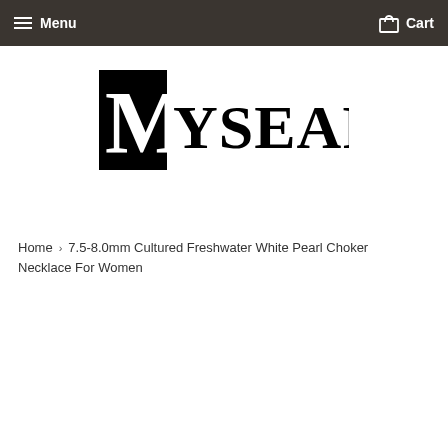Menu   Cart
[Figure (logo): MySeaPearl logo — black square with white M followed by YSEAPEARL text in black serif/sans font]
Home › 7.5-8.0mm Cultured Freshwater White Pearl Choker Necklace For Women